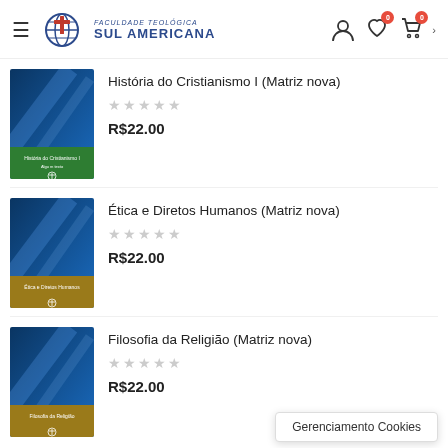Faculdade Teológica Sul Americana
[Figure (other): Product listing item: book cover for História do Cristianismo I]
História do Cristianismo I (Matriz nova)
R$22.00
[Figure (other): Product listing item: book cover for Ética e Diretos Humanos]
Ética e Diretos Humanos (Matriz nova)
R$22.00
[Figure (other): Product listing item: book cover for Filosofia da Religião]
Filosofia da Religião (Matriz nova)
R$22.00
Gerenciamento Cookies